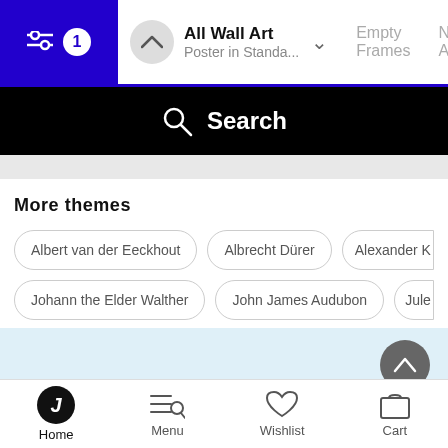All Wall Art — Poster in Standa... | Empty Frames | New A
[Figure (screenshot): Search bar with magnifying glass icon on black background]
More themes
Albert van der Eeckhout
Albrecht Dürer
Alexander K
Johann the Elder Walther
John James Audubon
Jule
Need help? Our customer service heroes are
Home | Menu | Wishlist | Cart